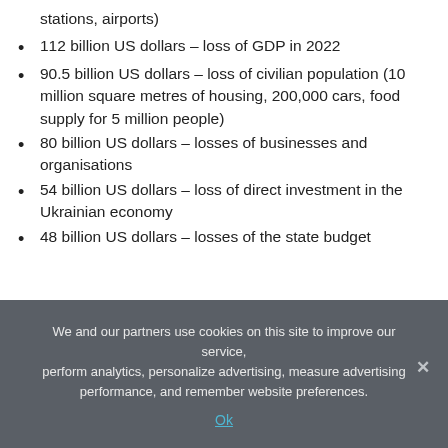stations, airports)
112 billion US dollars – loss of GDP in 2022
90.5 billion US dollars – loss of civilian population (10 million square metres of housing, 200,000 cars, food supply for 5 million people)
80 billion US dollars – losses of businesses and organisations
54 billion US dollars – loss of direct investment in the Ukrainian economy
48 billion US dollars – losses of the state budget
We and our partners use cookies on this site to improve our service, perform analytics, personalize advertising, measure advertising performance, and remember website preferences.
Ok